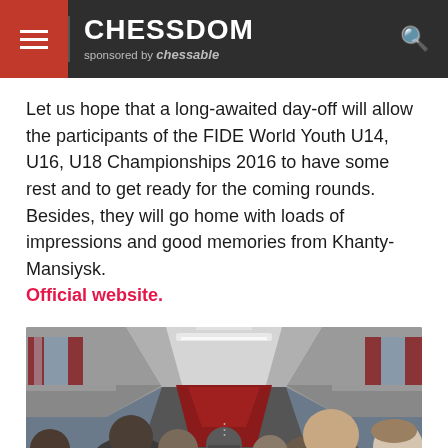CHESSDOM sponsored by chessable
Let us hope that a long-awaited day-off will allow the participants of the FIDE World Youth U14, U16, U18 Championships 2016 to have some rest and to get ready for the coming rounds. Besides, they will go home with loads of impressions and good memories from Khanty-Mansiysk. Official website.
[Figure (photo): Interior of a bus filled with passengers, red curtains on windows, view down the aisle toward the front.]